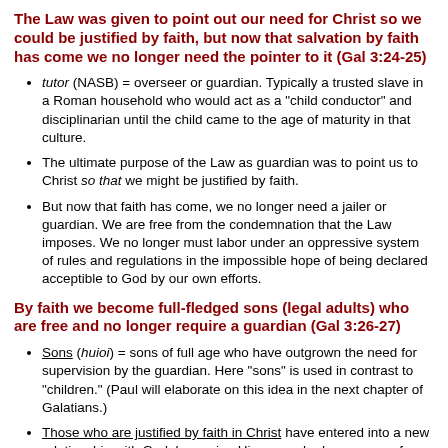The Law was given to point out our need for Christ so we could be justified by faith, but now that salvation by faith has come we no longer need the pointer to it (Gal 3:24-25)
tutor (NASB) = overseer or guardian. Typically a trusted slave in a Roman household who would act as a "child conductor" and disciplinarian until the child came to the age of maturity in that culture.
The ultimate purpose of the Law as guardian was to point us to Christ so that we might be justified by faith.
But now that faith has come, we no longer need a jailer or guardian. We are free from the condemnation that the Law imposes. We no longer must labor under an oppressive system of rules and regulations in the impossible hope of being declared acceptible to God by our own efforts.
By faith we become full-fledged sons (legal adults) who are free and no longer require a guardian (Gal 3:26-27)
Sons (huioi) = sons of full age who have outgrown the need for supervision by the guardian. Here "sons" is used in contrast to "children." (Paul will elaborate on this idea in the next chapter of Galatians.)
Those who are justified by faith in Christ have entered into a new relationship with God, becoming His sons who have come of age and receive the same name as the Father, as well as the status